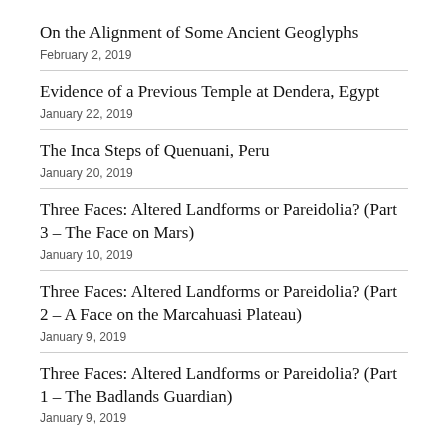On the Alignment of Some Ancient Geoglyphs
February 2, 2019
Evidence of a Previous Temple at Dendera, Egypt
January 22, 2019
The Inca Steps of Quenuani, Peru
January 20, 2019
Three Faces: Altered Landforms or Pareidolia? (Part 3 – The Face on Mars)
January 10, 2019
Three Faces: Altered Landforms or Pareidolia? (Part 2 – A Face on the Marcahuasi Plateau)
January 9, 2019
Three Faces: Altered Landforms or Pareidolia? (Part 1 – The Badlands Guardian)
January 9, 2019